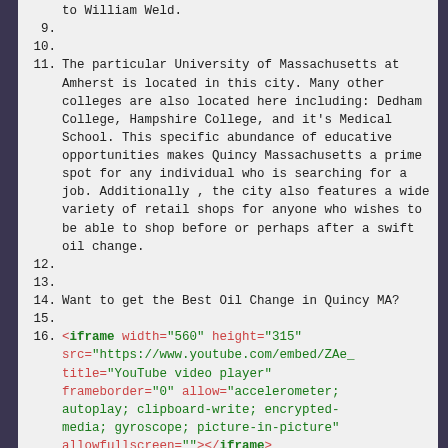to William Weld.
9.
10.
11. The particular University of Massachusetts at Amherst is located in this city. Many other colleges are also located here including: Dedham College, Hampshire College, and it's Medical School. This specific abundance of educative opportunities makes Quincy Massachusetts a prime spot for any individual who is searching for a job. Additionally , the city also features a wide variety of retail shops for anyone who wishes to be able to shop before or perhaps after a swift oil change.
12.
13.
14. Want to get the Best Oil Change in Quincy MA?
15.
16. <iframe width="560" height="315" src="https://www.youtube.com/embed/ZAe_... title="YouTube video player" frameborder="0" allow="accelerometer; autoplay; clipboard-write; encrypted-media; gyroscope; picture-in-picture" allowfullscreen=""></iframe>